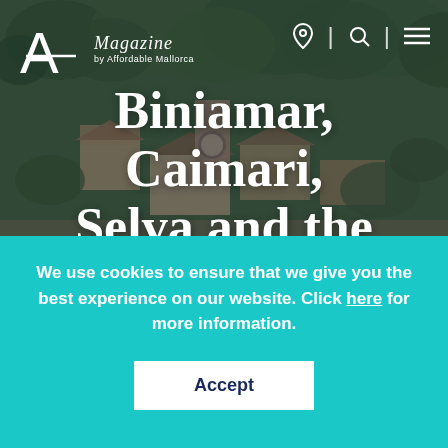[Figure (photo): Aerial/overhead photo of a Mediterranean village (Mallorca) with stone buildings and lush green trees, used as hero background image]
A Magazine by Affordable Mallorca
Biniamar, Caimari, Selva and the Camino a "Lluc"
We use cookies to ensure that we give you the best experience on our website. Click here for more information.
Accept